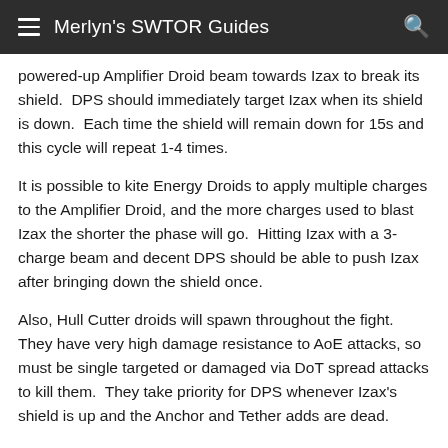Merlyn's SWTOR Guides
powered-up Amplifier Droid beam towards Izax to break its shield.  DPS should immediately target Izax when its shield is down.  Each time the shield will remain down for 15s and this cycle will repeat 1-4 times.
It is possible to kite Energy Droids to apply multiple charges to the Amplifier Droid, and the more charges used to blast Izax the shorter the phase will go.  Hitting Izax with a 3-charge beam and decent DPS should be able to push Izax after bringing down the shield once.
Also, Hull Cutter droids will spawn throughout the fight.  They have very high damage resistance to AoE attacks, so must be single targeted or damaged via DoT spread attacks to kill them.  They take priority for DPS whenever Izax's shield is up and the Anchor and Tether adds are dead.